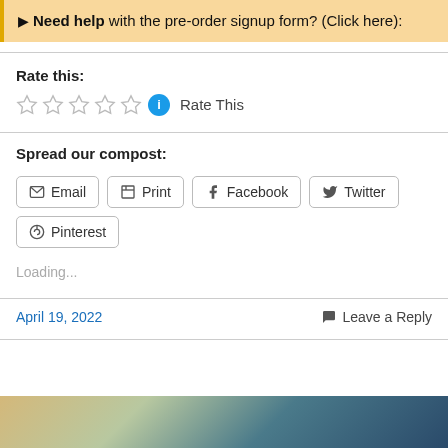▶ Need help with the pre-order signup form? (Click here):
Rate this:
Rate This
Spread our compost:
Email
Print
Facebook
Twitter
Pinterest
Loading...
April 19, 2022
Leave a Reply
[Figure (photo): Partial image of earth/nature visible at the bottom of the page]